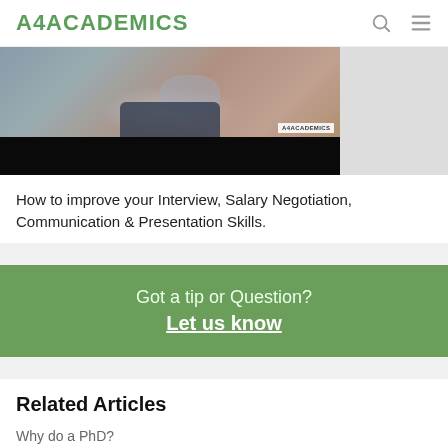A4ACADEMICS
[Figure (screenshot): Video thumbnail showing a person with hands gesturing, with A4ACADEMICS watermark, dark background at bottom]
How to improve your Interview, Salary Negotiation, Communication & Presentation Skills.
Got a tip or Question? Let us know
Related Articles
Why do a PhD?
What PhD you should go for - Full time, part time or online?